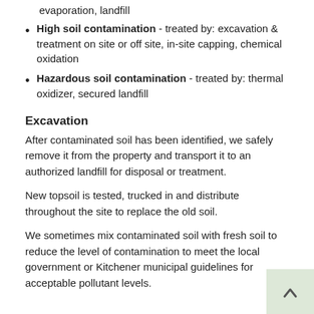evaporation, landfill
High soil contamination - treated by: excavation & treatment on site or off site, in-site capping, chemical oxidation
Hazardous soil contamination - treated by: thermal oxidizer, secured landfill
Excavation
After contaminated soil has been identified, we safely remove it from the property and transport it to an authorized landfill for disposal or treatment.
New topsoil is tested, trucked in and distribute throughout the site to replace the old soil.
We sometimes mix contaminated soil with fresh soil to reduce the level of contamination to meet the local government or Kitchener municipal guidelines for acceptable pollutant levels.